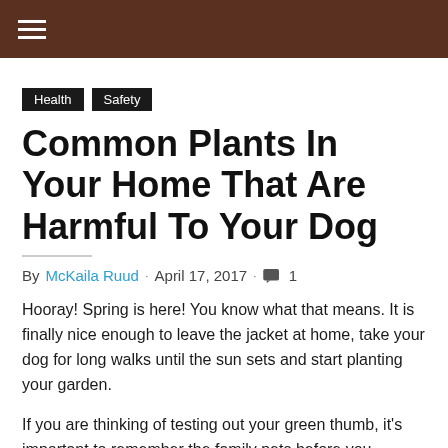≡
Health  Safety
Common Plants In Your Home That Are Harmful To Your Dog
By McKaila Ruud . April 17, 2017 . 💬 1
Hooray! Spring is here! You know what that means. It is finally nice enough to leave the jacket at home, take your dog for long walks until the sun sets and start planting your garden.
If you are thinking of testing out your green thumb, it's important to remember the family pets before you introduce new plants to your yard or home.